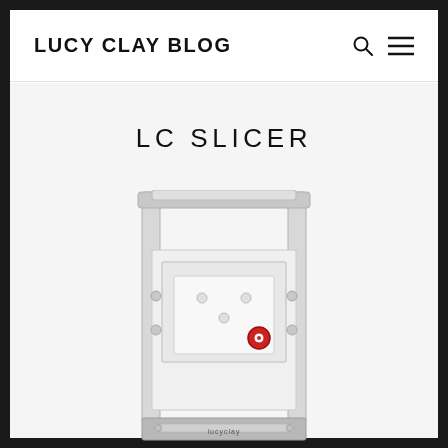LUCY CLAY BLOG
LC SLICER
[Figure (photo): LC Slicer product photo: a white and silver metal clay slicer tool with a rectangular frame, sliding panel, and a red knob/button, photographed on a white background]